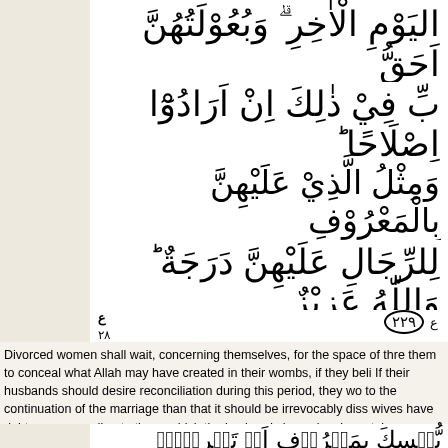Arabic Quran text - line 1 (partial): اليوم الاخر وبعولتهن احق
Arabic Quran text - line 2 (partial): في ذلك ان ارادوا اصلاحا
Arabic Quran text - line 3 (partial): مثل الذي عليهن بالمعروف
Arabic Quran text - line 4 (partial): الرجال عليهن درجة والله عزيز
Verse markers: ع٢٨ ٧ ١٢ and (٢٢٩)
Divorced women shall wait, concerning themselves, for the space of thre them to conceal what Allah may have created in their wombs, if they beli If their husbands should desire reconciliation during this period, they wo to the continuation of the marriage than that it should be irrevocably diss wives have rights corresponding to those which the husbands have, in e in certain situations men would have the final word and would thus enjoy Mighty, Wise. (229)
Arabic Quran text - bottom partial line